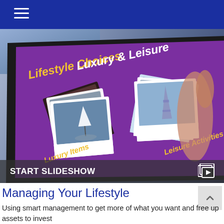[Figure (photo): Person holding a tablet displaying a slideshow titled 'Lifestyle Choices: Luxury & Leisure' with polaroid-style photos of a sailboat and the Eiffel Tower on a purple background. Shows categories: Luxury Items, Leisure Activities.]
Managing Your Lifestyle
Using smart management to get more of what you want and free up assets to invest